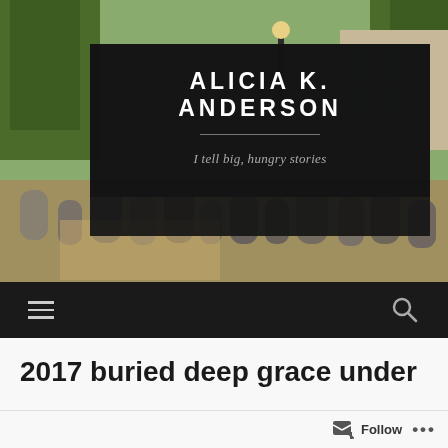[Figure (photo): Outdoor cemetery/graveyard scene with old headstones, trees, and a building in the background, used as the blog header background image.]
ALICIA K. ANDERSON
I tell big, hungry stories
[Figure (screenshot): Navigation bar with hamburger menu icon on the left and search icon on the right, on a dark background.]
2017 buried deep grace under
Follow
...